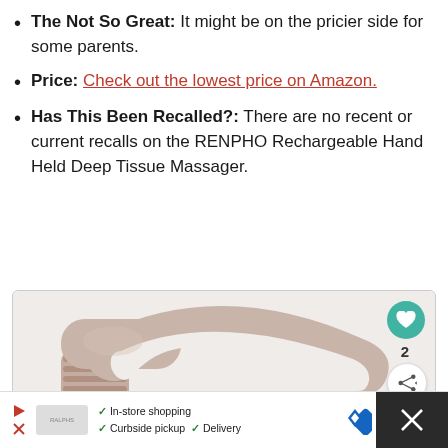The Not So Great: It might be on the pricier side for some parents.
Price: Check out the lowest price on Amazon.
Has This Been Recalled?: There are no recent or current recalls on the RENPHO Rechargeable Hand Held Deep Tissue Massager.
[Figure (photo): Photo of a taupe/beige RENPHO Rechargeable Hand Held Deep Tissue Massager shown from the side, with a heart/like button overlay showing count 2 and a share button overlay.]
[Figure (screenshot): Ad bar at the bottom showing store options: In-store shopping, Curbside pickup, Delivery with icons.]